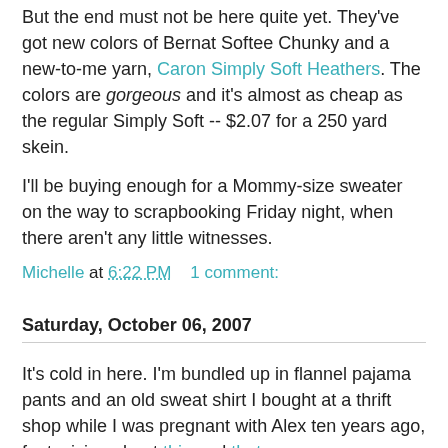But the end must not be here quite yet. They've got new colors of Bernat Softee Chunky and a new-to-me yarn, Caron Simply Soft Heathers. The colors are gorgeous and it's almost as cheap as the regular Simply Soft -- $2.07 for a 250 yard skein.
I'll be buying enough for a Mommy-size sweater on the way to scrapbooking Friday night, when there aren't any little witnesses.
Michelle at 6:22 PM    1 comment:
Saturday, October 06, 2007
It's cold in here. I'm bundled up in flannel pajama pants and an old sweat shirt I bought at a thrift shop while I was pregnant with Alex ten years ago, fantasizing about this and that.
I found great-grandma's hairpin lace loom while Bill was tearing off the roof and house expansion from a few years ago, of